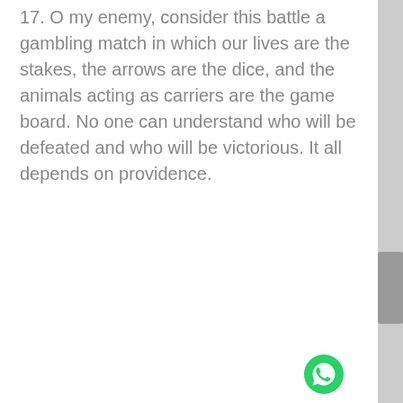17. O my enemy, consider this battle a gambling match in which our lives are the stakes, the arrows are the dice, and the animals acting as carriers are the game board. No one can understand who will be defeated and who will be victorious. It all depends on providence.